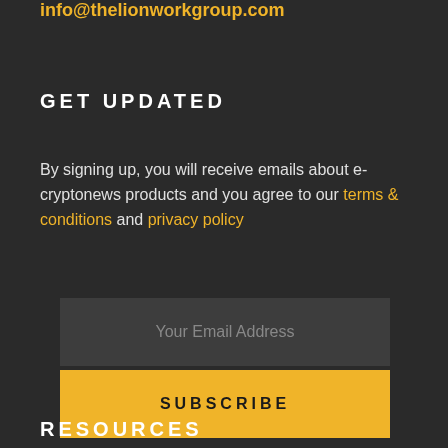info@thelionworkgroup.com
GET UPDATED
By signing up, you will receive emails about e-cryptonews products and you agree to our terms & conditions and privacy policy
[Figure (other): Email input field with placeholder text 'Your Email Address']
[Figure (other): Yellow subscribe button with text 'SUBSCRIBE']
RESOURCES